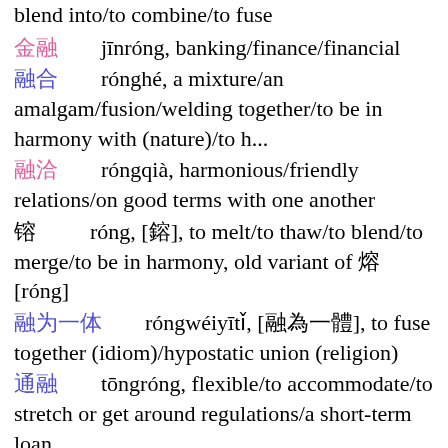blend into/to combine/to fuse
金融　jīnróng, banking/finance/financial
融合　rónghé, a mixture/an amalgam/fusion/welding together/to be in harmony with (nature)/to h...
融洽　róngqià, harmonious/friendly relations/on good terms with one another
镕　róng, [鎔], to melt/to thaw/to blend/to merge/to be in harmony, old variant of 熔[róng]
融为一体　róngwéiyītǐ, [融為一體], to fuse together (idiom)/hypostatic union (religion)
通融　tōngróng, flexible/to accommodate/to stretch or get around regulations/a short-term loan
融资　róngzī, [融資], financing
交融　jiāoróng, to blend/to mix
消融　xiāoróng, to melt (e.g. an icecap)